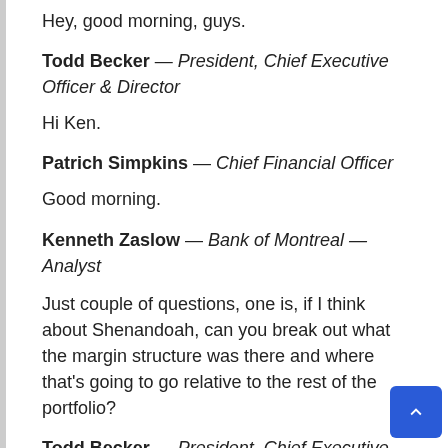Hey, good morning, guys.
Todd Becker — President, Chief Executive Officer & Director
Hi Ken.
Patrich Simpkins — Chief Financial Officer
Good morning.
Kenneth Zaslow — Bank of Montreal — Analyst
Just couple of questions, one is, if I think about Shenandoah, can you break out what the margin structure was there and where that's going to go relative to the rest of the portfolio?
Todd Becker — President, Chief Executive